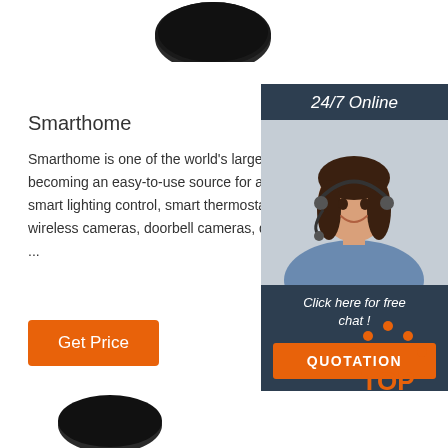[Figure (photo): Dark circular product image at top center]
Smarthome
Smarthome is one of the world's largest home automation companies, becoming an easy-to-use source for affordable devices including smart lighting control, smart thermostats, smart home security, wireless cameras, doorbell cameras, door locks, and more. ...
[Figure (photo): Sidebar with woman wearing headset and customer service elements]
Get Price
24/7 Online
Click here for free chat !
QUOTATION
[Figure (illustration): TOP navigation icon with orange dots above text]
[Figure (photo): Dark circular product image at bottom]